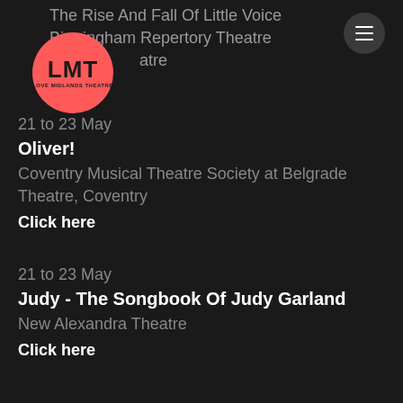The Rise And Fall Of Little Voice | Birmingham Repertory Theatre
[Figure (logo): LMT Love Midlands Theatre logo — pink circle with black LMT text]
21 to 23 May
Oliver!
Coventry Musical Theatre Society at Belgrade Theatre, Coventry
Click here
21 to 23 May
Judy - The Songbook Of Judy Garland
New Alexandra Theatre
Click here